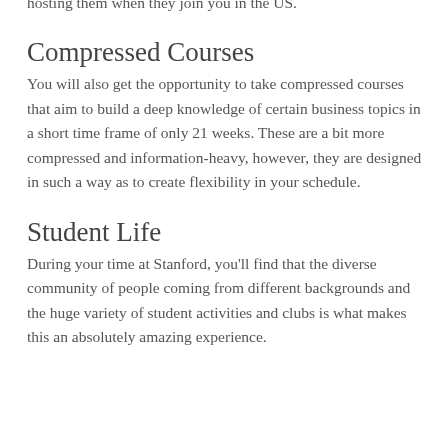Tsinghua University in China. You'll get to experience their culture when you visit them in Beijing, and you'll also be hosting them when they join you in the US.
Compressed Courses
You will also get the opportunity to take compressed courses that aim to build a deep knowledge of certain business topics in a short time frame of only 21 weeks. These are a bit more compressed and information-heavy, however, they are designed in such a way as to create flexibility in your schedule.
Student Life
During your time at Stanford, you'll find that the diverse community of people coming from different backgrounds and the huge variety of student activities and clubs is what makes this an absolutely amazing experience.